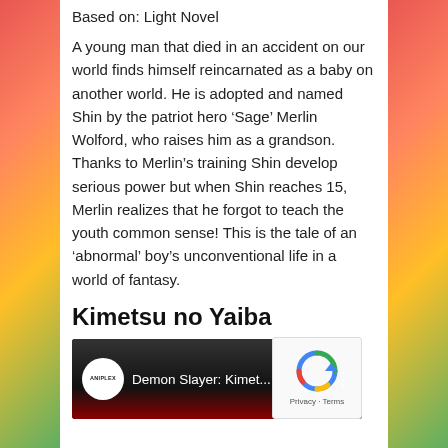Based on: Light Novel
A young man that died in an accident on our world finds himself reincarnated as a baby on another world. He is adopted and named Shin by the patriot hero ‘Sage’ Merlin Wolford, who raises him as a grandson. Thanks to Merlin’s training Shin develop serious power but when Shin reaches 15, Merlin realizes that he forgot to teach the youth common sense! This is the tale of an ‘abnormal’ boy’s unconventional life in a world of fantasy.
Kimetsu no Yaiba
[Figure (screenshot): YouTube video thumbnail showing 'Demon Slayer: Kimet...' with Aniplex logo circle on the left and a three-dot menu icon on the right, dark background with red at the bottom.]